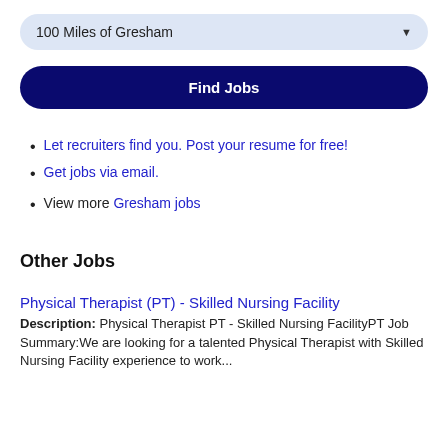100 Miles of Gresham
Find Jobs
Let recruiters find you. Post your resume for free!
Get jobs via email.
View more Gresham jobs
Other Jobs
Physical Therapist (PT) - Skilled Nursing Facility
Description: Physical Therapist PT - Skilled Nursing FacilityPT Job Summary:We are looking for a talented Physical Therapist with Skilled Nursing Facility experience to work...